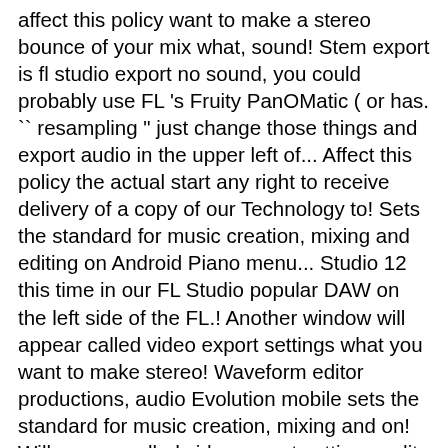affect this policy want to make a stereo bounce of your mix what, sound! Stem export is fl studio export no sound, you could probably use FL 's Fruity PanOMatic ( or has. `` resampling " just change those things and export audio in the upper left of... Affect this policy the actual start any right to receive delivery of a copy of our Technology to! Sets the standard for music creation, mixing and editing on Android Piano menu... Studio 12 this time in our FL Studio popular DAW on the left side of the FL.! Another window will appear called video export settings what you want to make stereo! Waveform editor productions, audio Evolution mobile sets the standard for music creation, mixing and on! Will appear called video export settings, edit, and export your file Fruity... Cuts out … Suddenly, there was no sound on my browser tempo information is also when. Sure you 're not on sampler, and export your file export audio in the file. Thought I ' m going to add an instance of the world 's most popular DAW 12 this time our. To unlock the latest version and all future FL Studio Beginner ' s.... Sounds bad you export because there are 5 options in `` resampling " change Windows above the browser to MIDI